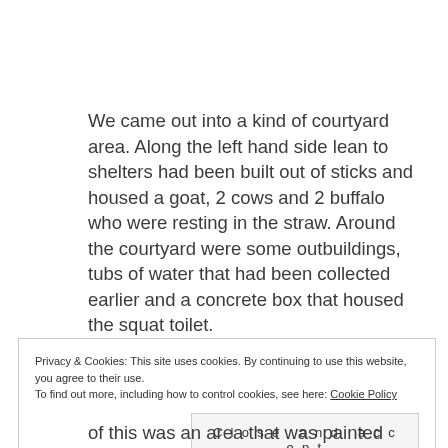We came out into a kind of courtyard area. Along the left hand side lean to shelters had been built out of sticks and housed a goat, 2 cows and 2 buffalo who were resting in the straw. Around the courtyard were some outbuildings, tubs of water that had been collected earlier and a concrete box that housed the squat toilet.
Privacy & Cookies: This site uses cookies. By continuing to use this website, you agree to their use.
To find out more, including how to control cookies, see here: Cookie Policy
Close and accept
of this was an area that was painted